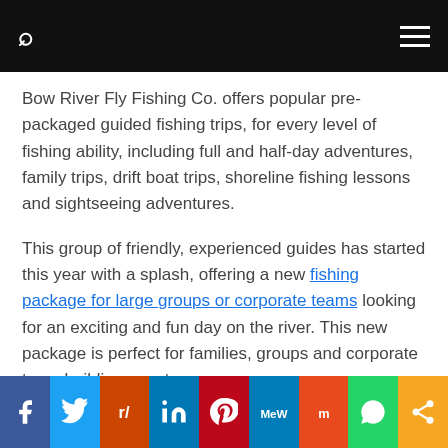Navigation bar with search icon and hamburger menu
Bow River Fly Fishing Co. offers popular pre-packaged guided fishing trips, for every level of fishing ability, including full and half-day adventures, family trips, drift boat trips, shoreline fishing lessons and sightseeing adventures.
This group of friendly, experienced guides has started this year with a splash, offering a new fishing package for large groups or corporate teams looking for an exciting and fun day on the river. This new package is perfect for families, groups and corporate team building events.
Social share bar: Facebook, Twitter, Reddit, LinkedIn, Pinterest, MeWe, Mix, WhatsApp, Share